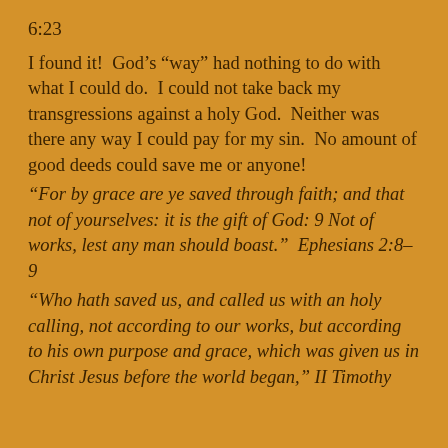6:23
I found it!  God's “way” had nothing to do with what I could do.  I could not take back my transgressions against a holy God.  Neither was there any way I could pay for my sin.  No amount of good deeds could save me or anyone!
“For by grace are ye saved through faith; and that not of yourselves: it is the gift of God: 9 Not of works, lest any man should boast.”  Ephesians 2:8–9
“Who hath saved us, and called us with an holy calling, not according to our works, but according to his own purpose and grace, which was given us in Christ Jesus before the world began,” II Timothy